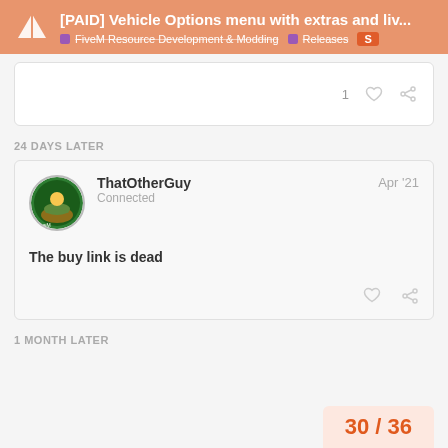[PAID] Vehicle Options menu with extras and liv... | FiveM Resource Development & Modding | Releases
1
24 DAYS LATER
ThatOtherGuy
Connected
Apr '21
The buy link is dead
1 MONTH LATER
30 / 36